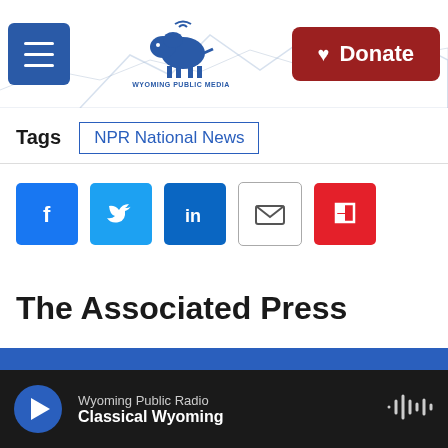[Figure (logo): Wyoming Public Media logo with bison and mountain landscape, hamburger menu button on left, red Donate button on right]
Tags  NPR National News
[Figure (infographic): Social sharing icons: Facebook (blue), Twitter (blue), LinkedIn (blue), Email (white/grey), Flipboard (red)]
The Associated Press
[Figure (screenshot): Audio player bar showing Wyoming Public Radio – Classical Wyoming with play button and waveform icon]